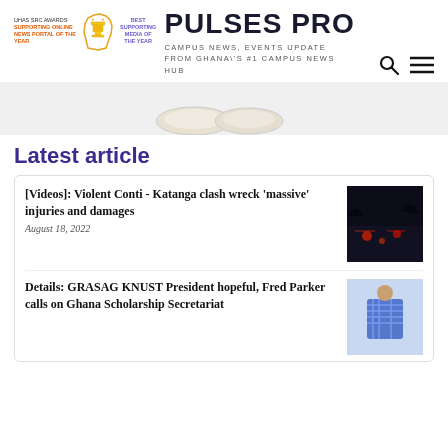PULSES PRO — CAMPUS NEWS, EVENTS UPDATE FROM GHANA'S #1 CAMPUS NEWS HUB
[Figure (illustration): Award logo with Ghana map outline, trophy icon, text: UHAS SRC AWARDS SUPPORTING ONLINE NEWS PORTAL OF THE YEAR and BEST SUPPORTING MEDIA OF THE YEAR]
[Figure (photo): Partial image of what appears to be bowls or plates, cropped, light background]
Latest article
[Videos]: Violent Conti - Katanga clash wreck 'massive' injuries and damages
August 18, 2022
[Figure (photo): Dark nighttime photo showing a scene with red lights, likely related to the Conti-Katanga clash]
Details: GRASAG KNUST President hopeful, Fred Parker calls on Ghana Scholarship Secretariat
[Figure (photo): Photo of a person in a plaid/checkered shirt, appears to be indoors]